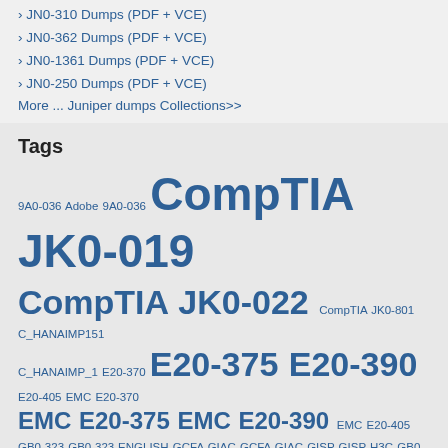› JN0-310 Dumps (PDF + VCE)
› JN0-362 Dumps (PDF + VCE)
› JN0-1361 Dumps (PDF + VCE)
› JN0-250 Dumps (PDF + VCE)
More ... Juniper dumps Collections>>
Tags
9A0-036 Adobe 9A0-036 CompTIA JK0-019 CompTIA JK0-022 CompTIA JK0-801 C_HANAIMP151 C_HANAIMP_1 E20-370 E20-375 E20-390 E20-405 EMC E20-370 EMC E20-375 EMC E20-390 EMC E20-405 GB0-323 GB0-323-ENGLISH GCFA GIAC GCFA GIAC GISP GISP H3C GB0-323 H3C GB0-323-ENGLISH HP2-E58 HP2-H27 HP HP2-E58 HP HP2-H27 IBM LOT-985 JK0-019 JK0-022 JK0-801 LOT-985 og0 093 exam dumps OG0-023 OG0-091 og0-091 dumps og0-091 exam questions og0-091 pdf OG0-093 og0-093 dumps og0-093 exam SAP C_HANAIMP151 SAP C_HANAIMP_1 The Open Group OG0-023 The Open Group OG0-091